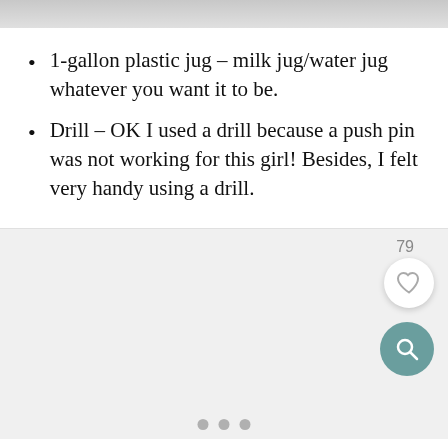[Figure (photo): Partial photo strip at top of page, blurred image]
1-gallon plastic jug – milk jug/water jug whatever you want it to be.
Drill – OK I used a drill because a push pin was not working for this girl! Besides, I felt very handy using a drill.
[Figure (photo): Light gray image placeholder area with like button (heart icon, count 79), search icon button, and three dots pagination indicator]